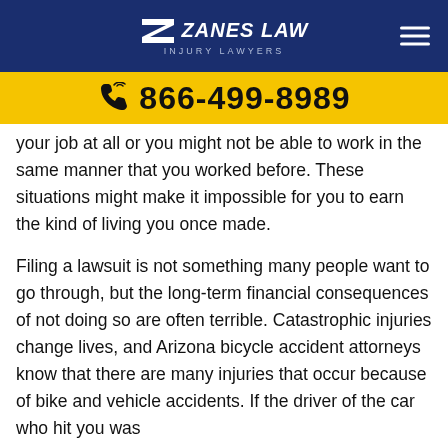Zanes Law Injury Lawyers
866-499-8989
your job at all or you might not be able to work in the same manner that you worked before. These situations might make it impossible for you to earn the kind of living you once made.
Filing a lawsuit is not something many people want to go through, but the long-term financial consequences of not doing so are often terrible. Catastrophic injuries change lives, and Arizona bicycle accident attorneys know that there are many injuries that occur because of bike and vehicle accidents. If the driver of the car who hit you was